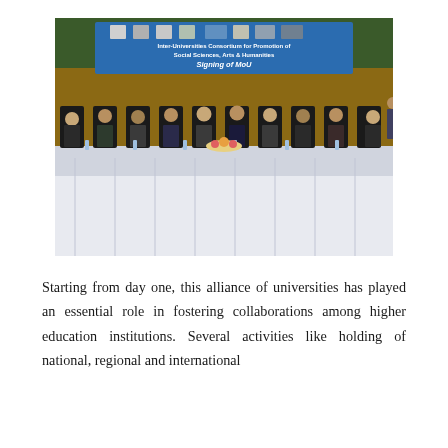[Figure (photo): A formal signing ceremony of MoU for the Inter-Universities Consortium for Promotion of Social Sciences, Arts & Humanities. Several dignitaries are seated at a long table covered with white cloth. A large blue banner in the background reads 'Inter-Universities Consortium for Promotion of Social Sciences, Arts & Humanities, Signing of MoU'. University logos are visible on the banner.]
Starting from day one, this alliance of universities has played an essential role in fostering collaborations among higher education institutions. Several activities like holding of national, regional and international